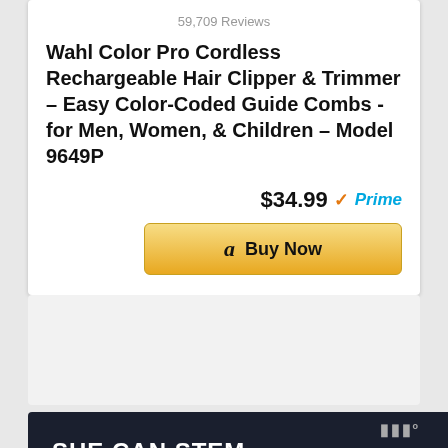59,709 Reviews
Wahl Color Pro Cordless Rechargeable Hair Clipper & Trimmer – Easy Color-Coded Guide Combs - for Men, Women, & Children – Model 9649P
$34.99 ✓Prime
[Figure (screenshot): Amazon 'Buy Now' button with Amazon logo]
[Figure (screenshot): Empty light gray section, likely an image placeholder]
[Figure (screenshot): Dark banner with text 'SHE CAN STEM' and a logo on the right]